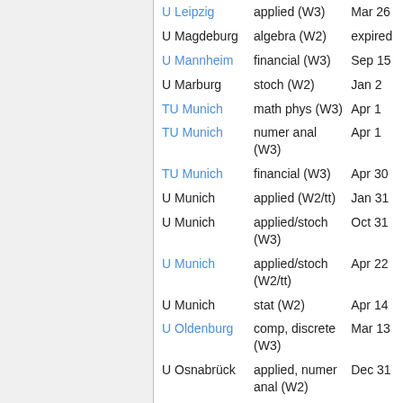| Institution | Field | Deadline |
| --- | --- | --- |
| U Leipzig | applied (W3) | Mar 26 |
| U Magdeburg | algebra (W2) | expired |
| U Mannheim | financial (W3) | Sep 15 |
| U Marburg | stoch (W2) | Jan 2 |
| TU Munich | math phys (W3) | Apr 1 |
| TU Munich | numer anal (W3) | Apr 1 |
| TU Munich | financial (W3) | Apr 30 |
| U Munich | applied (W2/tt) | Jan 31 |
| U Munich | applied/stoch (W3) | Oct 31 |
| U Munich | applied/stoch (W2/tt) | Apr 22 |
| U Munich | stat (W2) | Apr 14 |
| U Oldenburg | comp, discrete (W3) | Mar 13 |
| U Osnabrück | applied, numer anal (W2) | Dec 31 |
| U Paderborn | analysis (W2) | Jan 28 |
| U Paderborn | num thy (W2) | Dec 5 |
| U ... | geom/topol ... | Apr 6 |